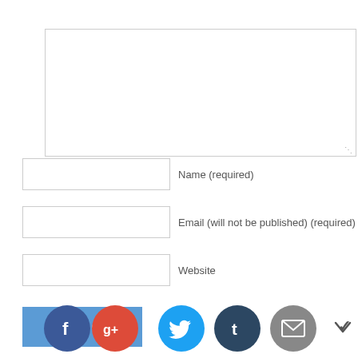[Figure (screenshot): Comment form with textarea, Name field, Email field, Website field, and social sharing buttons (Facebook, Google+, Twitter, Tumblr, Email)]
Name (required)
Email (will not be published) (required)
Website